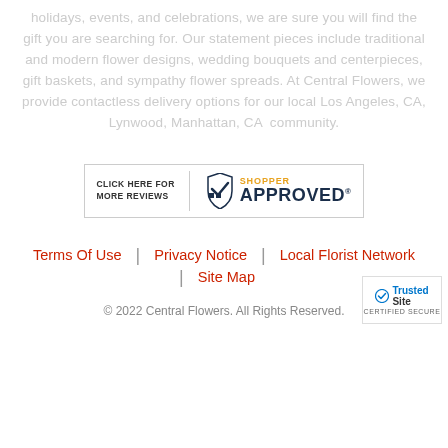holidays, events, and celebrations, we are sure you will find the gift you are searching for. Our statement pieces include traditional and modern flower designs, wedding bouquets and centerpieces, gift baskets, and sympathy flower spreads. At Central Flowers, we provide contactless delivery options for our local Los Angeles, CA, Lynwood, Manhattan, CA  community.
[Figure (logo): Shopper Approved badge with text 'CLICK HERE FOR MORE REVIEWS' and checkmark logo]
Terms Of Use | Privacy Notice | Local Florist Network | Site Map
© 2022 Central Flowers. All Rights Reserved.
[Figure (logo): TrustedSite CERTIFIED SECURE badge]